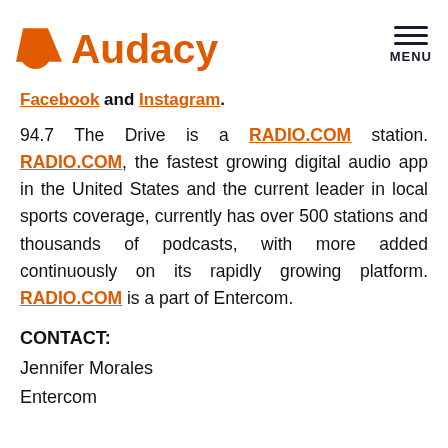Audacy [logo] | MENU
Facebook and Instagram.
94.7 The Drive is a RADIO.COM station. RADIO.COM, the fastest growing digital audio app in the United States and the current leader in local sports coverage, currently has over 500 stations and thousands of podcasts, with more added continuously on its rapidly growing platform. RADIO.COM is a part of Entercom.
CONTACT:
Jennifer Morales
Entercom